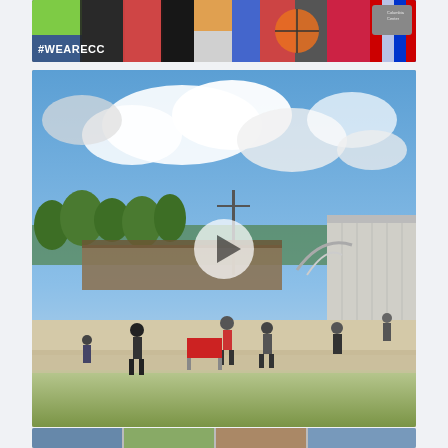[Figure (photo): Top banner photo showing colorful fabric items/merchandise with '#WEARECC' text overlay on the left side. Multiple patterned textiles visible including sports-themed fabrics.]
[Figure (photo): Large video thumbnail showing a community college campus outdoor plaza on a sunny day with clouds. People walking around, buildings visible including a modern entrance structure with metal sculpture. A white play button triangle is overlaid in the center indicating a video.]
[Figure (photo): Bottom strip partially visible - appears to be another photo collage below the main video.]